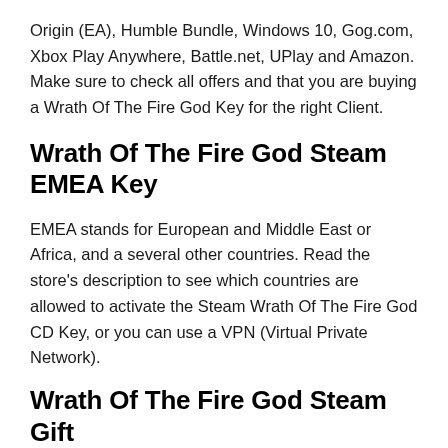Origin (EA), Humble Bundle, Windows 10, Gog.com, Xbox Play Anywhere, Battle.net, UPlay and Amazon. Make sure to check all offers and that you are buying a Wrath Of The Fire God Key for the right Client.
Wrath Of The Fire God Steam EMEA Key
EMEA stands for European and Middle East or Africa, and a several other countries. Read the store's description to see which countries are allowed to activate the Steam Wrath Of The Fire God CD Key, or you can use a VPN (Virtual Private Network).
Wrath Of The Fire God Steam Gift
You receive a gift on your Steam account. You have